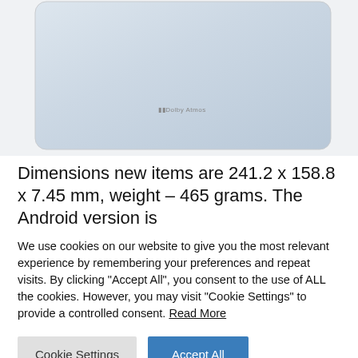[Figure (photo): Back of a Samsung tablet (silver/light blue metallic finish) with Dolby Atmos logo, partially cropped, showing the rear panel with rounded corners.]
Dimensions new items are 241.2 x 158.8 x 7.45 mm, weight – 465 grams. The Android version is
We use cookies on our website to give you the most relevant experience by remembering your preferences and repeat visits. By clicking "Accept All", you consent to the use of ALL the cookies. However, you may visit "Cookie Settings" to provide a controlled consent. Read More
Cookie Settings | Accept All